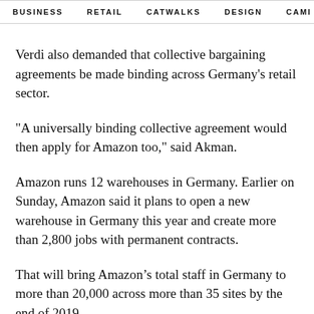BUSINESS   RETAIL   CATWALKS   DESIGN   CAMI >
Verdi also demanded that collective bargaining agreements be made binding across Germany's retail sector.
"A universally binding collective agreement would then apply for Amazon too," said Akman.
Amazon runs 12 warehouses in Germany. Earlier on Sunday, Amazon said it plans to open a new warehouse in Germany this year and create more than 2,800 jobs with permanent contracts.
That will bring Amazon’s total staff in Germany to more than 20,000 across more than 35 sites by the end of 2019